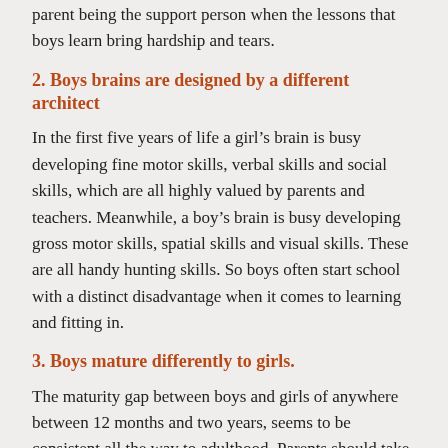parent being the support person when the lessons that boys learn bring hardship and tears.
2. Boys brains are designed by a different architect
In the first five years of life a girl's brain is busy developing fine motor skills, verbal skills and social skills, which are all highly valued by parents and teachers. Meanwhile, a boy's brain is busy developing gross motor skills, spatial skills and visual skills. These are all handy hunting skills. So boys often start school with a distinct disadvantage when it comes to learning and fitting in.
3. Boys mature differently to girls.
The maturity gap between boys and girls of anywhere between 12 months and two years, seems to be consistent all the way to adulthood. Parents should take this into account when deciding the school starting age of their sons. This maturity gap is also evident when kids